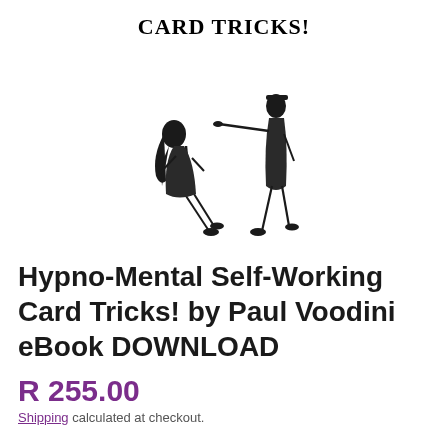CARD TRICKS!
[Figure (illustration): Black and white vintage illustration of two figures: one person (left) leaning back dramatically, another person (right) pointing at them with an outstretched arm, suggestive of hypnosis or mentalism.]
Hypno-Mental Self-Working Card Tricks! by Paul Voodini eBook DOWNLOAD
R 255.00
Shipping calculated at checkout.